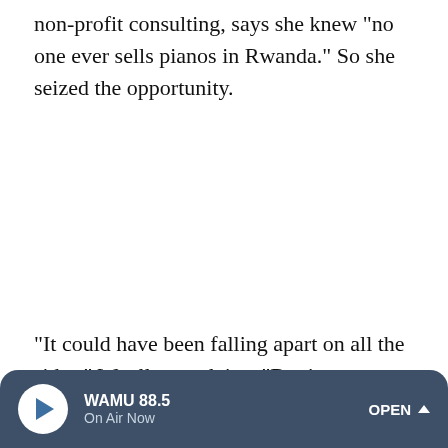non-profit consulting, says she knew "no one ever sells pianos in Rwanda." So she seized the opportunity.
"It could have been falling apart on all the sides," Woolley explains. "But it was a piano and it played. It was the only
WAMU 88.5 On Air Now OPEN ^